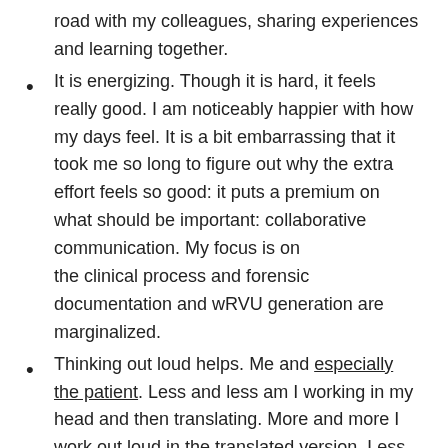road with my colleagues, sharing experiences and learning together.
It is energizing. Though it is hard, it feels really good. I am noticeably happier with how my days feel. It is a bit embarrassing that it took me so long to figure out why the extra effort feels so good: it puts a premium on what should be important: collaborative communication. My focus is on the clinical process and forensic documentation and wRVU generation are marginalized.
Thinking out loud helps. Me and especially the patient. Less and less am I working in my head and then translating. More and more I work out loud in the translated version. Less stuff gets lost in translation. I find myself explaining why I am asking some questions (or asking them